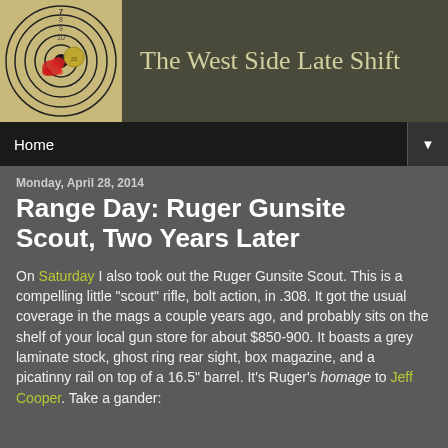[Figure (photo): Shooting target with bullseye, red splatter marks and a coin placed on it]
The West Side Late Shift
Home
Monday, April 28, 2014
Range Day: Ruger Gunsite Scout, Two Years Later
On Saturday I also took out the Ruger Gunsite Scout. This is a compelling little "scout" rifle, bolt action, in .308. It got the usual coverage in the mags a couple years ago, and probably sits on the shelf of your local gun store for about $850-900. It boasts a grey laminate stock, ghost ring rear sight, box magazine, and a picatinny rail on top of a 16.5" barrel. It's Ruger's homage to Jeff Cooper. Take a gander: